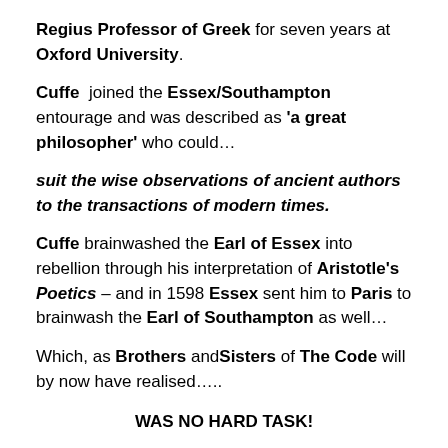Regius Professor of Greek for seven years at Oxford University.
Cuffe joined the Essex/Southampton entourage and was described as ‘a great philosopher’ who could…
suit the wise observations of ancient authors to the transactions of modern times.
Cuffe brainwashed the Earl of Essex into rebellion through his interpretation of Aristotle’s Poetics – and in 1598 Essex sent him to Paris to brainwash the Earl of Southampton as well…
Which, as Brothers and Sisters of The Code will by now have realised…..
WAS NO HARD TASK!